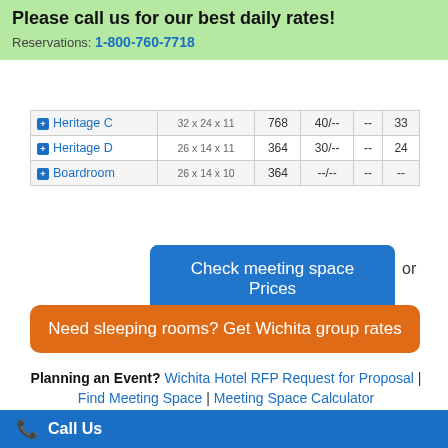Please call us for our best daily rates! Reservations: 1-800-760-7718
|  |  |  |  |  |  |
| --- | --- | --- | --- | --- | --- |
| Heritage C | 32 x 24 x 11 | 768 | 40/-- | -- | 33 |
| Heritage D | 26 x 14 x 11 | 364 | 30/-- | -- | 24 |
| Boardroom | 26 x 14 x 10 | 364 | --/-- | -- | -- |
Check meeting space Prices or
Need sleeping rooms? Get Wichita group rates
Planning an Event? Wichita Hotel RFP Request for Proposal | Find Meeting Space | Meeting Space Calculator
Call Us